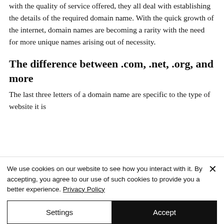with the quality of service offered, they all deal with establishing the details of the required domain name. With the quick growth of the internet, domain names are becoming a rarity with the need for more unique names arising out of necessity.
The difference between .com, .net, .org, and more
The last three letters of a domain name are specific to the type of website it is
We use cookies on our website to see how you interact with it. By accepting, you agree to our use of such cookies to provide you a better experience. Privacy Policy
Settings
Accept